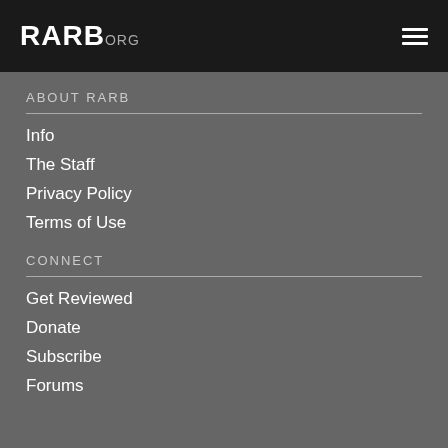RARB.ORG
ABOUT RARB
Info
The Staff
Privacy Policy
Terms of Use
CONNECT
Get Reviewed
Donate
Subscribe
Forums
© 1993-2022 RARB LLC. All rights reserved. Logo design by Melanie Lapovich
Help Finishing Your Music
Get help finishing your music here Jon Lesher - Mix Engineer
Get Quote